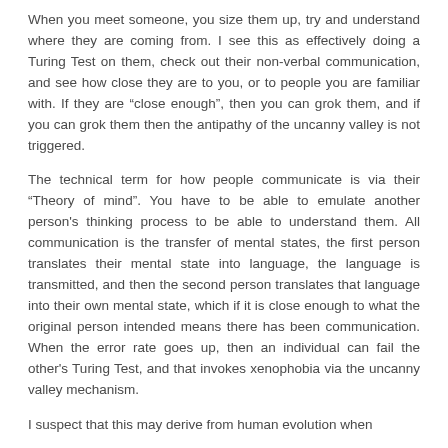When you meet someone, you size them up, try and understand where they are coming from. I see this as effectively doing a Turing Test on them, check out their non-verbal communication, and see how close they are to you, or to people you are familiar with. If they are “close enough”, then you can grok them, and if you can grok them then the antipathy of the uncanny valley is not triggered.
The technical term for how people communicate is via their “Theory of mind”. You have to be able to emulate another person's thinking process to be able to understand them. All communication is the transfer of mental states, the first person translates their mental state into language, the language is transmitted, and then the second person translates that language into their own mental state, which if it is close enough to what the original person intended means there has been communication. When the error rate goes up, then an individual can fail the other's Turing Test, and that invokes xenophobia via the uncanny valley mechanism.
I suspect that this may derive from human evolution when